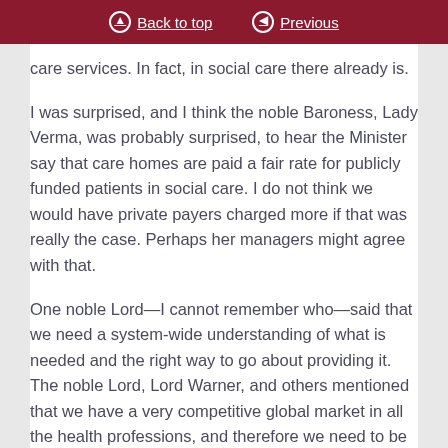Back to top  Previous
care services. In fact, in social care there already is.
I was surprised, and I think the noble Baroness, Lady Verma, was probably surprised, to hear the Minister say that care homes are paid a fair rate for publicly funded patients in social care. I do not think we would have private payers charged more if that was really the case. Perhaps her managers might agree with that.
One noble Lord—I cannot remember who—said that we need a system-wide understanding of what is needed and the right way to go about providing it. The noble Lord, Lord Warner, and others mentioned that we have a very competitive global market in all the health professions, and therefore we need to be